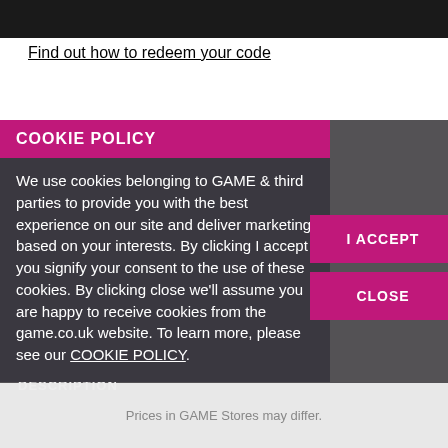[Figure (screenshot): Black top bar of a website header]
Find out how to redeem your code
[Figure (screenshot): Cookie policy modal overlay on GAME.co.uk website with pink header, body text about cookies, I ACCEPT and CLOSE buttons. Background shows dark overlay with partial text about reward points, click & collect, 10% back, and £3 a month.]
Prices in GAME Stores may differ.